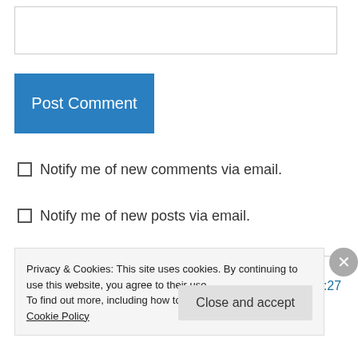[Figure (screenshot): Text input box for comment entry]
Post Comment
Notify me of new comments via email.
Notify me of new posts via email.
shenrydafrankmann on January 25, 2016 at 1:27 pm
Privacy & Cookies: This site uses cookies. By continuing to use this website, you agree to their use.
To find out more, including how to control cookies, see here: Cookie Policy
Close and accept